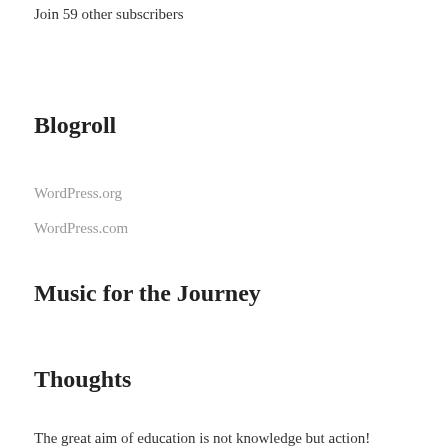Join 59 other subscribers
Blogroll
WordPress.org
WordPress.com
Music for the Journey
Thoughts
The great aim of education is not knowledge but action!